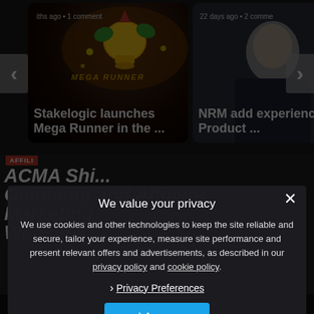[Figure (screenshot): Carousel card: Stakelogic launches Mega Runner slot game article thumbnail with colorful slot game imagery]
iths ago • 1 comment
Stakelogic launches Mega Runner in the ...
[Figure (photo): Carousel card: NRM add experienced Product article thumbnail with photo of a man]
22 days ago • 2 comme
NRM add experienced Product ...
AFFILI
ACMA Shi... Gambling and Affiliate Marketing Websites
We value your privacy
We use cookies and other technologies to keep the site reliable and secure, tailor your experience, measure site performance and present relevant offers and advertisements, as described in our privacy policy and cookie policy.
› Privacy Preferences
I Agree